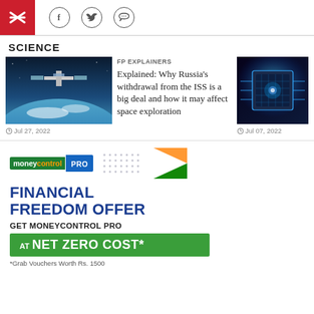Header with logo and social icons (Facebook, Twitter, WhatsApp)
SCIENCE
[Figure (photo): Photo of the International Space Station orbiting Earth]
FP EXPLAINERS
Explained: Why Russia's withdrawal from the ISS is a big deal and how it may affect space exploration
Jul 27, 2022
[Figure (photo): Blue glowing microchip technology photo]
Jul 07, 2022
[Figure (infographic): Moneycontrol PRO advertisement - FINANCIAL FREEDOM OFFER - GET MONEYCONTROL PRO AT NET ZERO COST* - Grab Vouchers Worth Rs. 1500]